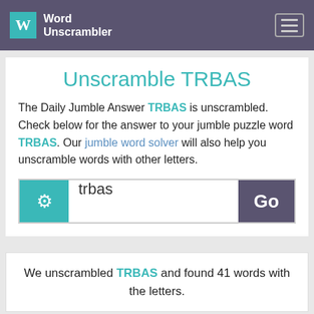Word Unscrambler
Unscramble TRBAS
The Daily Jumble Answer TRBAS is unscrambled. Check below for the answer to your jumble puzzle word TRBAS. Our jumble word solver will also help you unscramble words with other letters.
trbas [search input] Go
We unscrambled TRBAS and found 41 words with the letters.